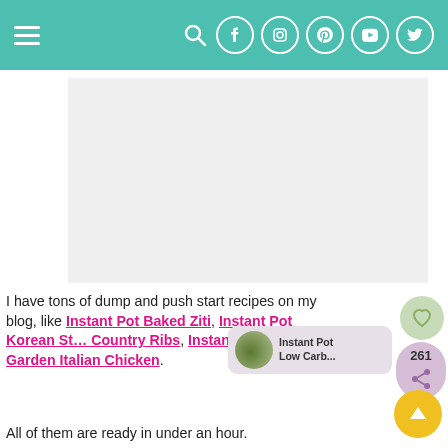Navigation header with menu icon and social media icons (search, Facebook, Instagram, Pinterest, YouTube, Twitter)
[Figure (photo): White/light gray image placeholder area]
I have tons of dump and push start recipes on my blog, like Instant Pot Baked Ziti, Instant Pot Korean Style Country Ribs, Instant Pot Olive Garden Italian Chicken.
All of them are ready in under an hour.